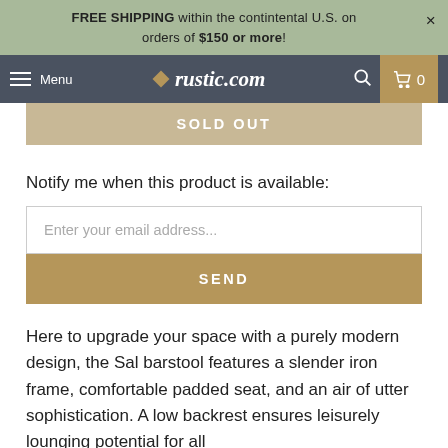FREE SHIPPING within the contintental U.S. on orders of $150 or more!
[Figure (screenshot): rustic.com navigation bar with hamburger menu, logo, search icon, and cart button showing 0 items]
SOLD OUT
Notify me when this product is available:
Enter your email address...
SEND
Here to upgrade your space with a purely modern design, the Sal barstool features a slender iron frame, comfortable padded seat, and an air of utter sophistication. A low backrest ensures leisurely lounging potential for all